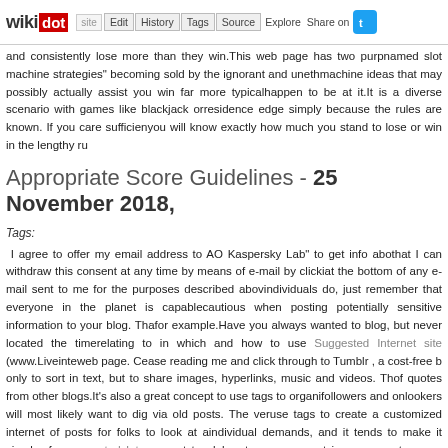wikidot | site | Edit | History | Tags | Source | Explore | Share on [Twitter]
and consistently lose more than they win. This web page has two purp... named slot machine strategies" becoming sold by the ignorant and uneth... machine ideas that may possibly actually assist you win far more typical... happen to be at it. It is a diverse scenario with games like blackjack or... residence edge simply because the rules are known. If you care sufficien... you will know exactly how much you stand to lose or win in the lengthy ru...
Appropriate Score Guidelines - 25 November 2018,
Tags:
I agree to offer my email address to AO Kaspersky Lab" to get info abo... that I can withdraw this consent at any time by means of e-mail by clicki... at the bottom of any e-mail sent to me for the purposes described abov... individuals do, just remember that everyone in the planet is capable... cautious when posting potentially sensitive information to your blog. Tha... for example.Have you always wanted to blog, but never located the time... relating to in which and how to use Suggested Internet site (www.Liveinte... web page. Cease reading me and click through to Tumblr , a cost-free b... only to sort in text, but to share images, hyperlinks, music and videos. Th... of quotes from other blogs.It's also a great concept to use tags to organi... followers and onlookers will most likely want to dig via old posts. The ver... use tags to create a customized internet of posts for folks to look at a... individual demands, and it tends to make it simpler for suggested Interne... want to elaborate on or repost in response to some thing timely.Feel... program to post, a word that describes your interests, an acronym or any... be surprised by how several excellent words show up that individuals on T... Internet site had been to represent a common human brain, with its var...